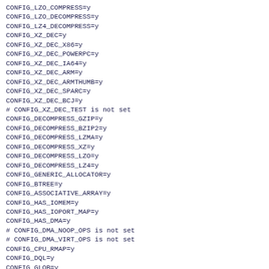CONFIG_LZO_COMPRESS=y
CONFIG_LZO_DECOMPRESS=y
CONFIG_LZ4_DECOMPRESS=y
CONFIG_XZ_DEC=y
CONFIG_XZ_DEC_X86=y
CONFIG_XZ_DEC_POWERPC=y
CONFIG_XZ_DEC_IA64=y
CONFIG_XZ_DEC_ARM=y
CONFIG_XZ_DEC_ARMTHUMB=y
CONFIG_XZ_DEC_SPARC=y
CONFIG_XZ_DEC_BCJ=y
# CONFIG_XZ_DEC_TEST is not set
CONFIG_DECOMPRESS_GZIP=y
CONFIG_DECOMPRESS_BZIP2=y
CONFIG_DECOMPRESS_LZMA=y
CONFIG_DECOMPRESS_XZ=y
CONFIG_DECOMPRESS_LZO=y
CONFIG_DECOMPRESS_LZ4=y
CONFIG_GENERIC_ALLOCATOR=y
CONFIG_BTREE=y
CONFIG_ASSOCIATIVE_ARRAY=y
CONFIG_HAS_IOMEM=y
CONFIG_HAS_IOPORT_MAP=y
CONFIG_HAS_DMA=y
# CONFIG_DMA_NOOP_OPS is not set
# CONFIG_DMA_VIRT_OPS is not set
CONFIG_CPU_RMAP=y
CONFIG_DQL=y
CONFIG_GLOB=y
# CONFIG_GLOB_SELFTEST is not set